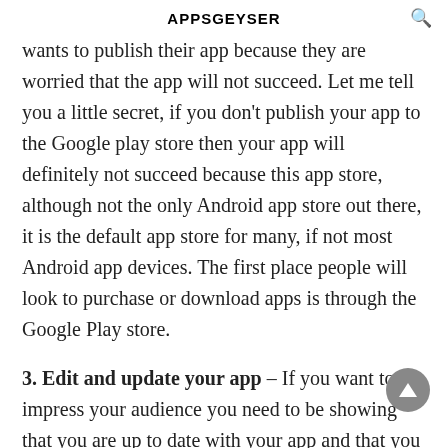APPSGEYSER
wants to publish their app because they are worried that the app will not succeed. Let me tell you a little secret, if you don't publish your app to the Google play store then your app will definitely not succeed because this app store, although not the only Android app store out there, it is the default app store for many, if not most Android app devices. The first place people will look to purchase or download apps is through the Google Play store.
3. Edit and update your app – If you want to impress your audience you need to be showing that you are up to date with your app and that you haven't forgotten its existence. Updating the app, which does not need to be weekly, or even monthly, gives your audience the